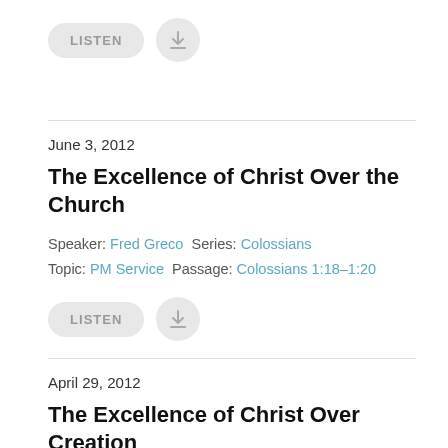[Figure (screenshot): LISTEN button and download button at top of page]
June 3, 2012
The Excellence of Christ Over the Church
Speaker: Fred Greco  Series: Colossians
Topic: PM Service  Passage: Colossians 1:18–1:20
[Figure (screenshot): LISTEN button and download button below sermon metadata]
April 29, 2012
The Excellence of Christ Over Creation